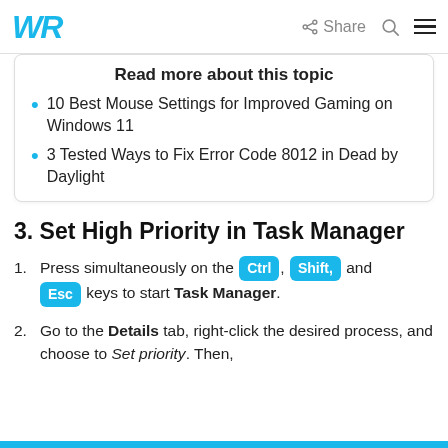WR | Share | Search | Menu
Read more about this topic
10 Best Mouse Settings for Improved Gaming on Windows 11
3 Tested Ways to Fix Error Code 8012 in Dead by Daylight
3. Set High Priority in Task Manager
Press simultaneously on the Ctrl, Shift, and Esc keys to start Task Manager.
Go to the Details tab, right-click the desired process, and choose to Set priority. Then,